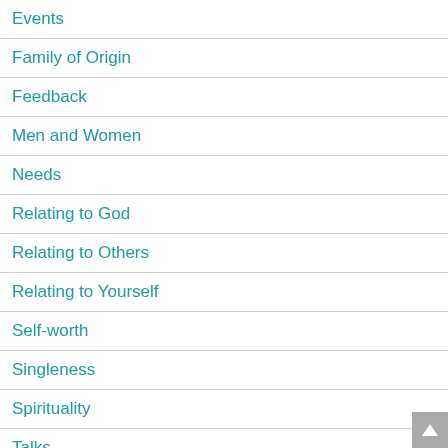Events
Family of Origin
Feedback
Men and Women
Needs
Relating to God
Relating to Others
Relating to Yourself
Self-worth
Singleness
Spirituality
Talks